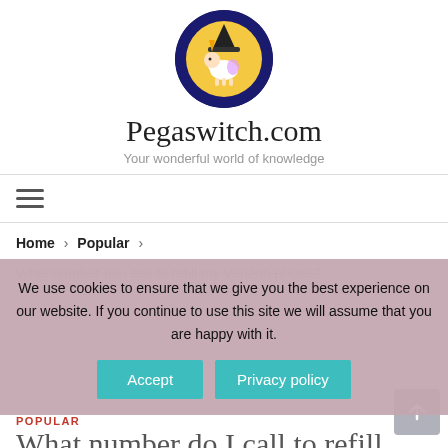[Figure (logo): Pegaswitch.com circular logo with dark blue border, showing a cartoon witch unicorn character on a yellow moon background]
Pegaswitch.com
Your wonderful world of knowledge
[Figure (illustration): Hamburger menu icon with three horizontal lines]
Home › Popular ›
What number do I call to refill my Verizon phone?
We use cookies to ensure that we give you the best experience on our website. If you continue to use this site we will assume that you are happy with it.
POPULAR
What number do I call to refill